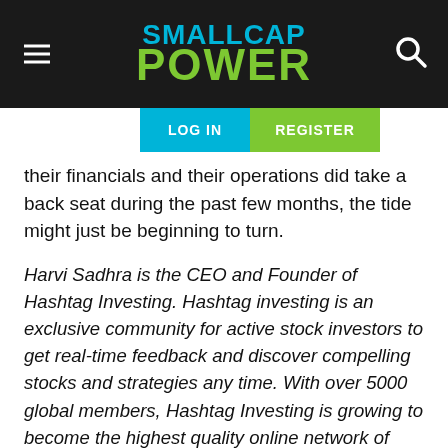SMALLCAP POWER
their financials and their operations did take a back seat during the past few months, the tide might just be beginning to turn.
Harvi Sadhra is the CEO and Founder of Hashtag Investing. Hashtag investing is an exclusive community for active stock investors to get real-time feedback and discover compelling stocks and strategies any time. With over 5000 global members, Hashtag Investing is growing to become the highest quality online network of investors.   www.hashtaginvesting.com
To read our full disclosure, please click on the button below: